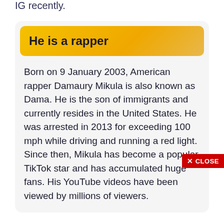IG recently.
He is a rapper
Born on 9 January 2003, American rapper Damaury Mikula is also known as Dama. He is the son of immigrants and currently resides in the United States. He was arrested in 2013 for exceeding 100 mph while driving and running a red light. Since then, Mikula has become a popular TikTok star and has accumulated huge fans. His YouTube videos have been viewed by millions of viewers.
✕ CLOSE